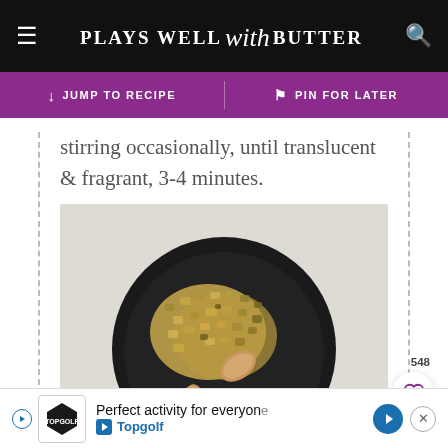PLAYS WELL with BUTTER
↓ JUMP TO RECIPE   ℗ PIN FOR LATER
stirring occasionally, until translucent & fragrant, 3-4 minutes.
[Figure (photo): Overhead view of a dark/black round skillet containing sautéed minced garlic/onion, golden-brown and translucent, with a wooden spoon resting in the pan. Light grey background.]
Perfect activity for everyone
Topgolf